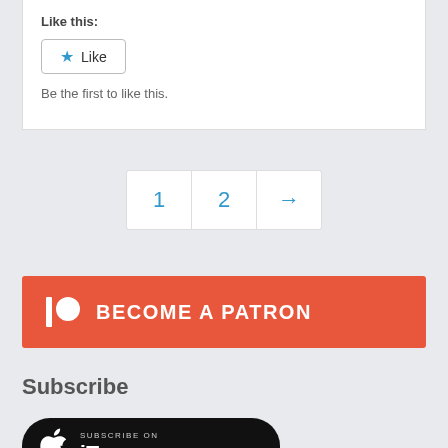Like this:
Like
Be the first to like this.
1  2  →
[Figure (other): Patreon 'Become a Patron' button — orange/red rectangular button with Patreon logo icon and bold white text 'BECOME A PATRON']
Subscribe
[Figure (other): Subscribe on iTunes badge — black rounded rectangle with Apple logo and 'Subscribe on iTunes' text]